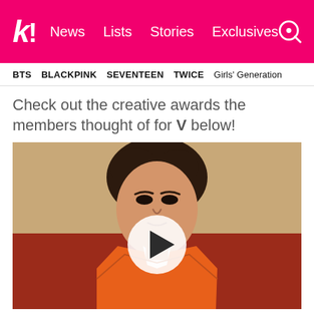k! News Lists Stories Exclusives
BTS   BLACKPINK   SEVENTEEN   TWICE   Girls' Generation
Check out the creative awards the members thought of for V below!
[Figure (photo): Video thumbnail of a young man with tousled brown hair wearing an orange blazer, seated at a table, with a play button overlay in the center of the image.]